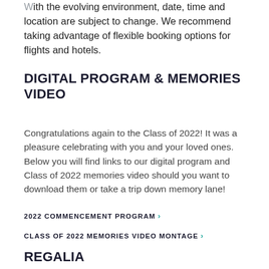With the evolving environment, date, time and location are subject to change. We recommend taking advantage of flexible booking options for flights and hotels.
DIGITAL PROGRAM & MEMORIES VIDEO
Congratulations again to the Class of 2022! It was a pleasure celebrating with you and your loved ones. Below you will find links to our digital program and Class of 2022 memories video should you want to download them or take a trip down memory lane!
2022 COMMENCEMENT PROGRAM
CLASS OF 2022 MEMORIES VIDEO MONTAGE
REGALIA